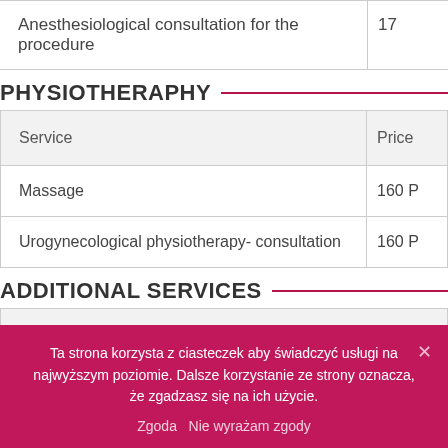| Service | Price |
| --- | --- |
| Anesthesiological consultation for the procedure | 17 |
PHYSIOTHERAPHY
| Service | Price |
| --- | --- |
| Massage | 160 P |
| Urogynecological physiotherapy- consultation | 160 P |
ADDITIONAL SERVICES
| Service |
| --- |
Ta strona korzysta z ciasteczek aby świadczyć usługi na najwyższym poziomie. Dalsze korzystanie ze strony oznacza, że zgadzasz się na ich użycie.
Zgoda   Nie wyrażam zgody